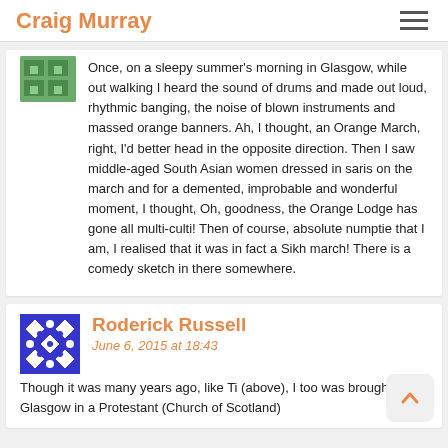Craig Murray
Once, on a sleepy summer's morning in Glasgow, while out walking I heard the sound of drums and made out loud, rhythmic banging, the noise of blown instruments and massed orange banners. Ah, I thought, an Orange March, right, I'd better head in the opposite direction. Then I saw middle-aged South Asian women dressed in saris on the march and for a demented, improbable and wonderful moment, I thought, Oh, goodness, the Orange Lodge has gone all multi-culti! Then of course, absolute numptie that I am, I realised that it was in fact a Sikh march! There is a comedy sketch in there somewhere.
Roderick Russell
June 6, 2015 at 18:43
Though it was many years ago, like Ti (above), I too was brought up in Glasgow in a Protestant (Church of Scotland)